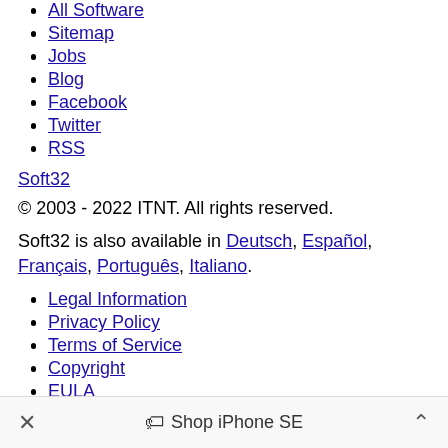All Software
Sitemap
Jobs
Blog
Facebook
Twitter
RSS
Soft32
© 2003 - 2022 ITNT. All rights reserved.
Soft32 is also available in Deutsch, Español, Français, Português, Italiano.
Legal Information
Privacy Policy
Terms of Service
Copyright
EULA
DMCA
Uninstall
× Shop iPhone SE ^